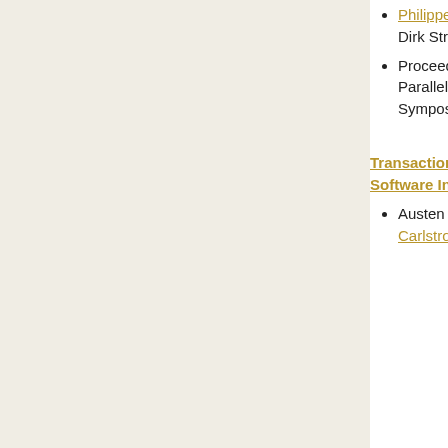Philippe Faes, Mark Christiaens and Dirk Stroobandt
Proceedings of the 21st International Parallel and Distributed Processing Symposium, 2007
Transactional Memory: The Hardware-Software Interface
Austen McDonald, Brian D. Carlstrom, JaeWoong